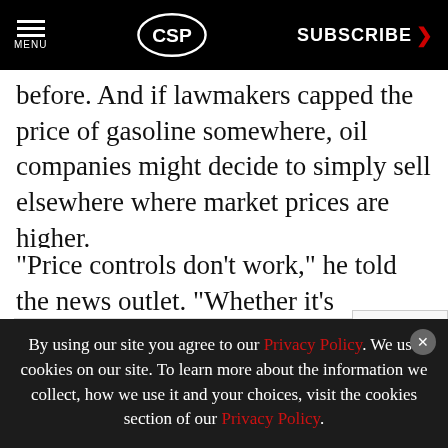MENU | CSP | SUBSCRIBE >
before. And if lawmakers capped the price of gasoline somewhere, oil companies might decide to simply sell elsewhere where market prices are higher.
"Price controls don't work," he told the news outlet. "Whether it's wholesale or retail, if the market's not allowed to work, what you're going t...
[Figure (screenshot): Advertising banner overlay: 'Free combi cooking guide' by Henny Penn with Download button, and a reCAPTCHA widget.]
By using our site you agree to our Privacy Policy. We use cookies on our site. To learn more about the information we collect, how we use it and your choices, visit the cookies section of our Privacy Policy.